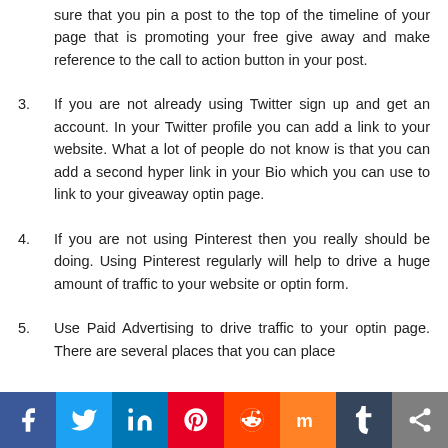sure that you pin a post to the top of the timeline of your page that is promoting your free give away and make reference to the call to action button in your post.
3. If you are not already using Twitter sign up and get an account. In your Twitter profile you can add a link to your website. What a lot of people do not know is that you can add a second hyper link in your Bio which you can use to link to your giveaway optin page.
4. If you are not using Pinterest then you really should be doing. Using Pinterest regularly will help to drive a huge amount of traffic to your website or optin form.
5. Use Paid Advertising to drive traffic to your optin page. There are several places that you can place